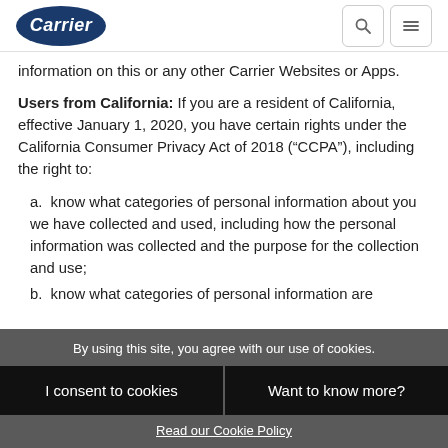Carrier
information on this or any other Carrier Websites or Apps.
Users from California: If you are a resident of California, effective January 1, 2020, you have certain rights under the California Consumer Privacy Act of 2018 (“CCPA”), including the right to:
a. know what categories of personal information about you we have collected and used, including how the personal information was collected and the purpose for the collection and use;
b. know what categories of personal information are
By using this site, you agree with our use of cookies.
I consent to cookies
Want to know more?
Read our Cookie Policy